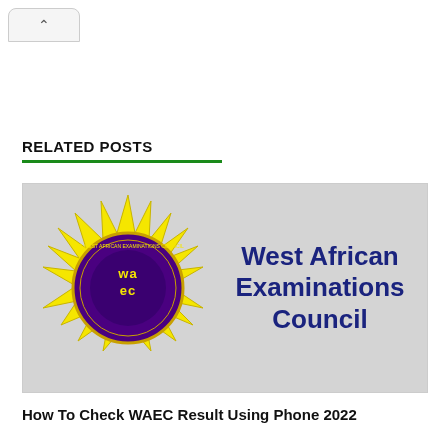RELATED POSTS
[Figure (logo): West African Examinations Council (WAEC) logo with purple and yellow starburst design and 'waec' text, alongside bold navy blue text reading 'West African Examinations Council']
How To Check WAEC Result Using Phone 2022